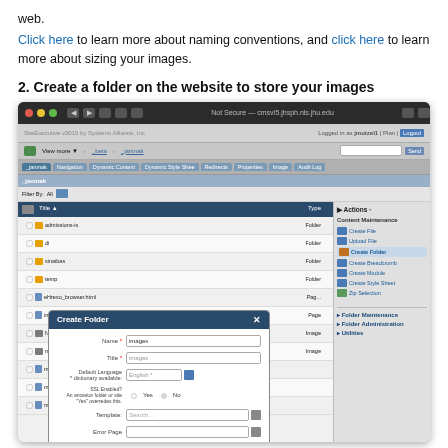web.
Click here to learn more about naming conventions, and click here to learn more about sizing your images.
2. Create a folder on the website to store your images
[Figure (screenshot): A screenshot of the SiteExecutive CMS interface showing a file directory with folders and files listed. A 'Create Folder' dialog box is open with fields for Name (images), Title (images), Default Language, SSL Enabled, Template, and Error Page. A green arrow points from the dialog to the 'Create Folder' option in the right sidebar.]